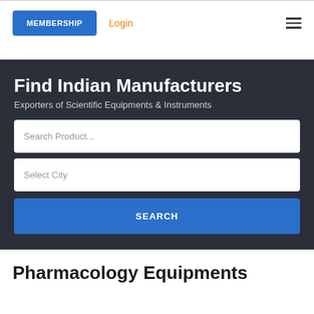MEMBERSHIP  Login
Find Indian Manufacturers
Exporters of Scientific Equipments & Instruments
Search Product...
Select City
SEARCH
Pharmacology Equipments